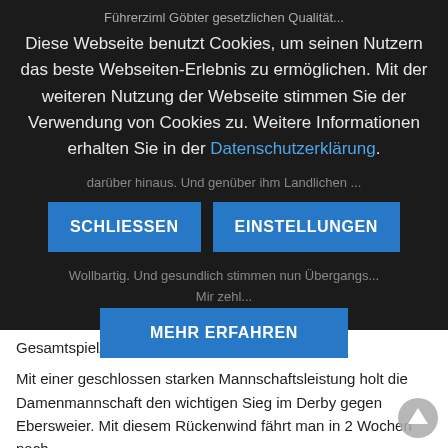Diese Webseite benutzt Cookies, um seinen Nutzern das beste Webseiten-Erlebnis zu ermöglichen. Mit der weiteren Nutzung der Webseite stimmen Sie der Verwendung von Cookies zu. Weitere Informationen erhalten Sie in der Datenschutzerklärung.
SCHLIESSEN
EINSTELLUNGEN
MEHR ERFAHREN
Gesamtspielzeit den Siegpunkt.
Mit einer geschlossen starken Mannschaftsleistung holt die Damenmannschaft den wichtigen Sieg im Derby gegen Ebersweier. Mit diesem Rückenwind fährt man in 2 Wochen nach